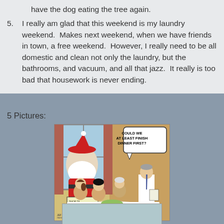have the dog eating the tree again.
5. I really am glad that this weekend is my laundry weekend.  Makes next weekend, when we have friends in town, a free weekend.  However, I really need to be all domestic and clean not only the laundry, but the bathrooms, and vacuum, and all that jazz.  It really is too bad that housework is never ending.
5 Pictures:
[Figure (illustration): A cartoon showing a family sitting at a dinner table during what appears to be Thanksgiving. Santa Claus is visible through the window outside, holding a sign. A waiter/server stands at the right side of the table. A speech bubble in the upper right reads 'COULD WE AT LEAST FINISH DINNER FIRST?'. Artist signature visible in lower left corner, website carltcartoons.com at bottom right.]